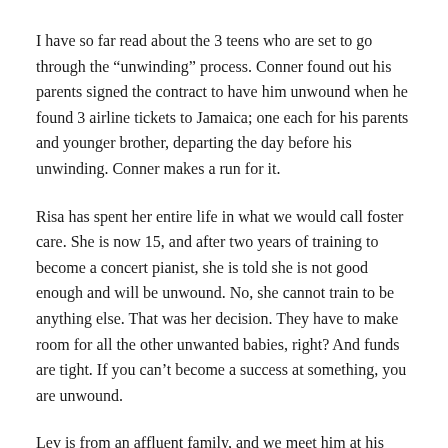I have so far read about the 3 teens who are set to go through the “unwinding” process. Conner found out his parents signed the contract to have him unwound when he found 3 airline tickets to Jamaica; one each for his parents and younger brother, departing the day before his unwinding. Conner makes a run for it.
Risa has spent her entire life in what we would call foster care. She is now 15, and after two years of training to become a concert pianist, she is told she is not good enough and will be unwound. No, she cannot train to be anything else. That was her decision. They have to make room for all the other unwanted babies, right? And funds are tight. If you can’t become a success at something, you are unwound.
Lev is from an affluent family, and we meet him at his 13th birthday party. Extravagant beyond belief, celebrating the fact that he is